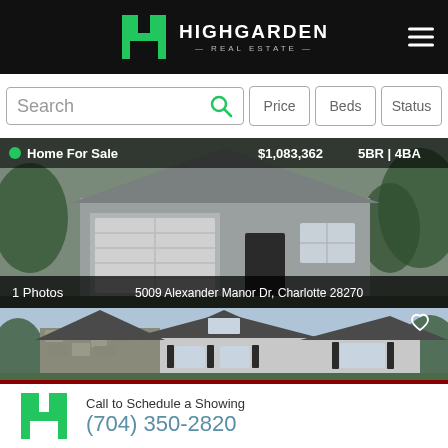HIGHGARDEN REAL ESTATE
Search | Price | Beds | Status
[Figure (photo): Exterior photo of a gray ranch-style home with a two-car garage, green trees in background. Overlay: Home For Sale, $1,083,362, 5BR | 4BA. Bottom bar: 1 Photos, 5009 Alexander Manor Dr, Charlotte 28270]
[Figure (photo): Exterior rendering of a large two-story craftsman-style home with stone and board-and-batten siding, dark shutters, and a dormered roofline. Heart/favorite icon in upper right.]
Call to Schedule a Showing
(704) 350-2820